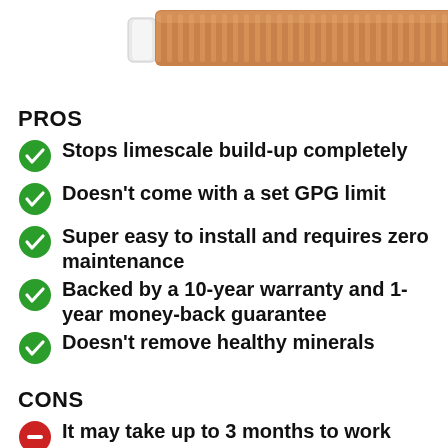[Figure (photo): A product image showing copper/rose-gold cylindrical water conditioner or magnetic descaler device with white end caps, positioned horizontally.]
PROS
Stops limescale build-up completely
Doesn't come with a set GPG limit
Super easy to install and requires zero maintenance
Backed by a 10-year warranty and 1-year money-back guarantee
Doesn't remove healthy minerals
CONS
It may take up to 3 months to work